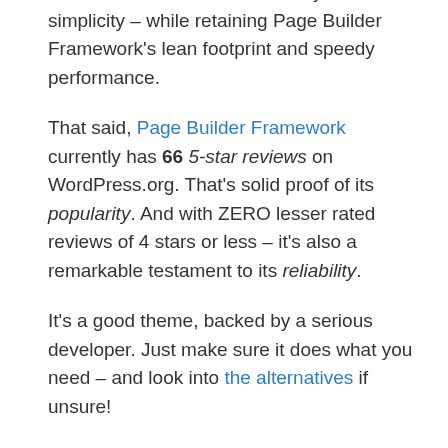better balance between flexibility and simplicity – while retaining Page Builder Framework's lean footprint and speedy performance.
That said, Page Builder Framework currently has 66 5-star reviews on WordPress.org. That's solid proof of its popularity. And with ZERO lesser rated reviews of 4 stars or less – it's also a remarkable testament to its reliability.
It's a good theme, backed by a serious developer. Just make sure it does what you need – and look into the alternatives if unsure!
How about you? Have you tried Page Builder